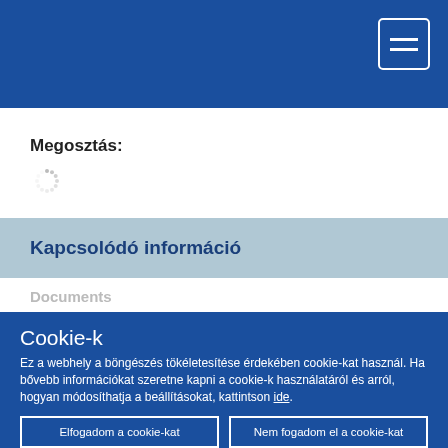Megosztás:
[Figure (other): Loading spinner icon (dotted circle)]
Kapcsolódó információ
Documents
Cookie-k
Ez a webhely a böngészés tökéletesítése érdekében cookie-kat használ. Ha bővebb információkat szeretne kapni a cookie-k használatáról és arról, hogyan módosíthatja a beállításokat, kattintson ide.
Elfogadom a cookie-kat
Nem fogadom el a cookie-kat